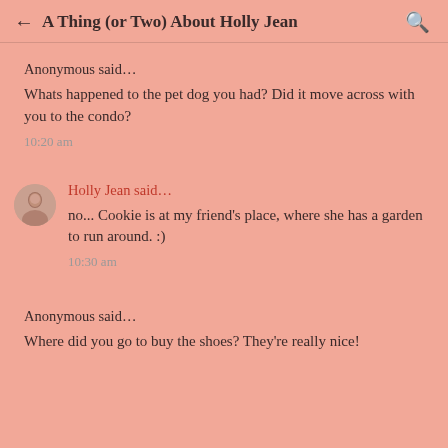A Thing (or Two) About Holly Jean
Anonymous said…
Whats happened to the pet dog you had? Did it move across with you to the condo?
10:20 am
Holly Jean said…
no... Cookie is at my friend's place, where she has a garden to run around. :)
10:30 am
Anonymous said…
Where did you go to buy the shoes? They're really nice!